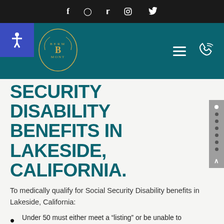Social media icons: Facebook, Instagram, Twitter
[Figure (logo): Law firm logo with scales of justice and laurel wreath, teal background navigation header with accessibility button, hamburger menu, and phone icon]
SECURITY DISABILITY BENEFITS IN LAKESIDE, CALIFORNIA.
To medically qualify for Social Security Disability benefits in Lakeside, California:
Under 50 must either meet a “listing” or be unable to perform jobs in the national economy. A “listing” is a set of criteria where, if each element is met, the claimant will automatically medically qualify for disability benefits.
Above 50, the threshold to medically qualify for benefits